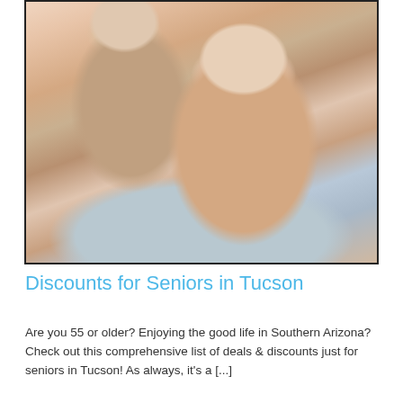[Figure (photo): Photo of two smiling elderly people, an older woman hugging a man from behind, both happy and cheerful]
Discounts for Seniors in Tucson
Are you 55 or older? Enjoying the good life in Southern Arizona? Check out this comprehensive list of deals & discounts just for seniors in Tucson! As always, it's a [...]